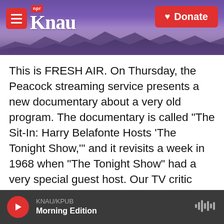KNAU NPR — Donate
This is FRESH AIR. On Thursday, the Peacock streaming service presents a new documentary about a very old program. The documentary is called "The Sit-In: Harry Belafonte Hosts 'The Tonight Show,'" and it revisits a week in 1968 when "The Tonight Show" had a very special guest host. Our TV critic David Bianculli has this review.
DAVID BIANCULLI, BYLINE: It's somewhat amazing, looking back, that Johnny Carson had the desire, the commitment and the clout to hand over a week of his late-night NBC series to Harry Belafonte in early 1968. By then, Belafonte was a
KNAU/KPUB  Morning Edition